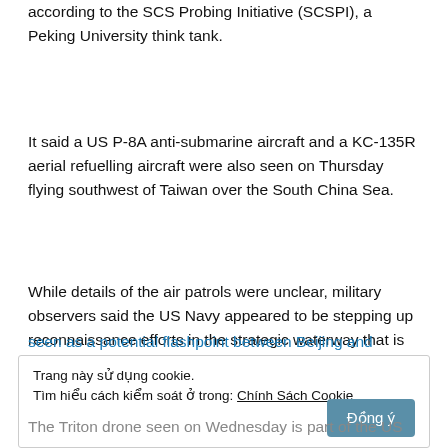according to the SCS Probing Initiative (SCSPI), a Peking University think tank.
It said a US P-8A anti-submarine aircraft and a KC-135R aerial refuelling aircraft were also seen on Thursday flying southwest of Taiwan over the South China Sea.
While details of the air patrols were unclear, military observers said the US Navy appeared to be stepping up reconnaissance efforts in the strategic waterway that is
seen as a potential flashpoint between Beijing and
Trang này sử dụng cookie.
Tìm hiểu cách kiểm soát ở trong: Chính Sách Cookie
The Triton drone seen on Wednesday is part of the US